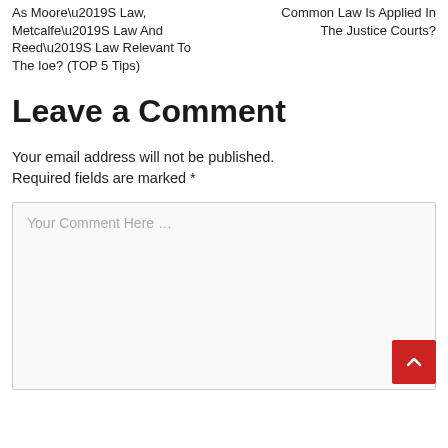As Moore’S Law, Metcalfe’S Law And Reed’S Law Relevant To The Ioe? (TOP 5 Tips)
Common Law Is Applied In The Justice Courts?
Leave a Comment
Your email address will not be published. Required fields are marked *
Your Comment Here …